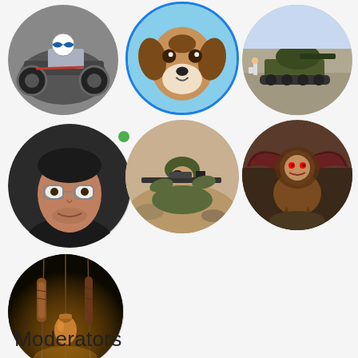[Figure (photo): Grid of 7 circular avatar images arranged in rows: Row 1: motorcycle, beagle dog, tank (Tiananmen), Row 2: man with glasses (online indicator), soldier with rifle, fantasy creature (manticore/dragon), Row 3: decorative hanging items]
Moderators